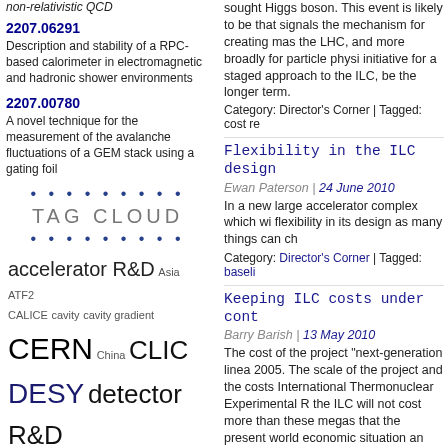non-relativistic QCD
2207.06291
Description and stability of a RPC-based calorimeter in electromagnetic and hadronic shower environments
2207.00780
A novel technique for the measurement of the avalanche fluctuations of a GEM stack using a gating foil
TAG CLOUD
accelerator R&D Asia ATF2 CALICE cavity cavity gradient CERN China CLIC DESY detector R&D Europe European Strategy for Particle Physics Fermilab Higgs ICFA ILC ILCSC ILC site ILD Japan KEK LHC MEXT outreach SCRF SLAC TDR Technical Design Report United States
sought Higgs boson. This event is likely to be that signals the mechanism for creating mas the LHC, and more broadly for particle physi initiative for a staged approach to the ILC, be the longer term.
Category: Director's Corner | Tagged: cost re
Flexibility in the ILC design
Ewan Paterson | 24 June 2010
In a new large accelerator complex which wi flexibility in its design as many things can ch
Category: Director's Corner | Tagged: baseli
Keeping ILC costs under cont
Barry Barish | 13 May 2010
The cost of the project "next-generation linea 2005. The scale of the project and the costs International Thermonuclear Experimental R the ILC will not cost more than these megas that the present world economic situation an governments to make yet another large inves fundamental science must go on...
Category: Director's Corner | Tagged: cost b
Path forward following the AA
Barry Barish | 18 March 2010
[...] we have sought a more critical technica